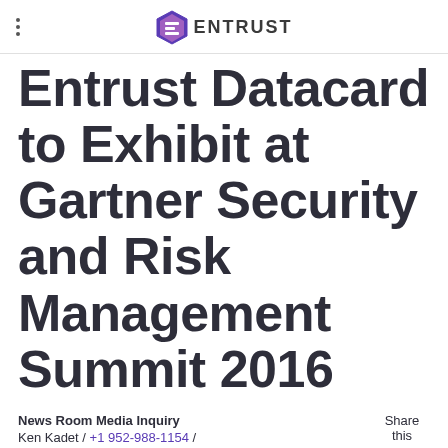ENTRUST
Entrust Datacard to Exhibit at Gartner Security and Risk Management Summit 2016
News Room Media Inquiry
Ken Kadet / +1 952-988-1154 /
ken.kadet@entrust.com
Share this